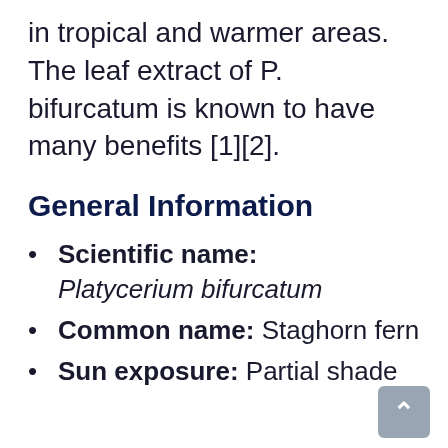in tropical and warmer areas. The leaf extract of P. bifurcatum is known to have many benefits [1][2].
General Information
Scientific name: Platycerium bifurcatum
Common name: Staghorn fern
Sun exposure: Partial shade